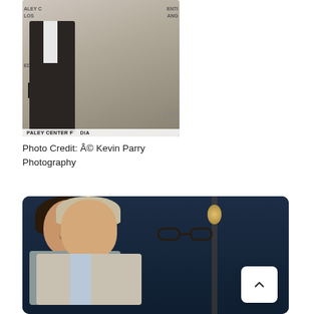[Figure (photo): Two people posed at a Paley Center for Media event in Los Angeles. A woman in a white dress with a black sequined top and black clutch stands next to a man in a dark suit. The Paley Center backdrop is visible with text 'PALEY CENTER F... DIA' and 'EDIA', 'ANG', 'LOS'.]
Photo Credit: Â© Kevin Parry Photography
[Figure (photo): A woman with dark curly hair wearing a grey top smiles next to an older man with grey curly hair wearing glasses and a light jacket, photographed against a dark blue background. A scroll-to-top button (chevron up) is overlaid in the lower right corner.]